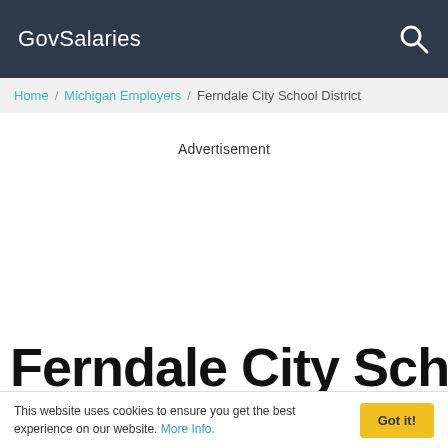GovSalaries
Home / Michigan Employers / Ferndale City School District
Advertisement
Ferndale City School
This website uses cookies to ensure you get the best experience on our website. More Info.